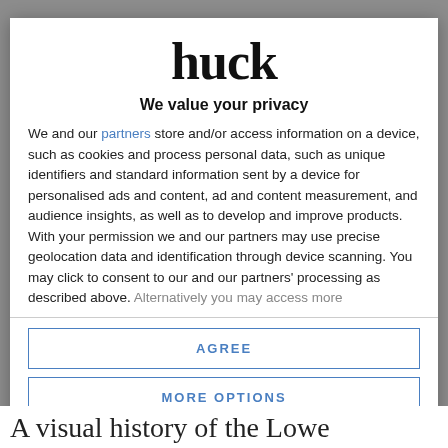[Figure (logo): Huck magazine logo in large bold serif font]
We value your privacy
We and our partners store and/or access information on a device, such as cookies and process personal data, such as unique identifiers and standard information sent by a device for personalised ads and content, ad and content measurement, and audience insights, as well as to develop and improve products. With your permission we and our partners may use precise geolocation data and identification through device scanning. You may click to consent to our and our partners' processing as described above. Alternatively you may access more
AGREE
MORE OPTIONS
A visual history of the Lowe